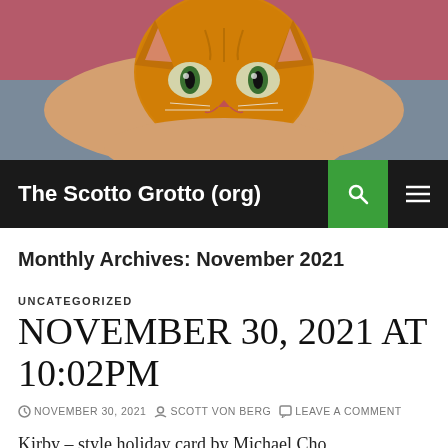[Figure (photo): Close-up photo of a person holding an orange tabby cat up near their face, cat looking forward with wide eyes, person wearing grey shirt, pink/red background]
The Scotto Grotto (org)
Monthly Archives: November 2021
UNCATEGORIZED
NOVEMBER 30, 2021 AT 10:02PM
NOVEMBER 30, 2021  SCOTT VON BERG  LEAVE A COMMENT
Kirby – style holiday card by Michael Cho